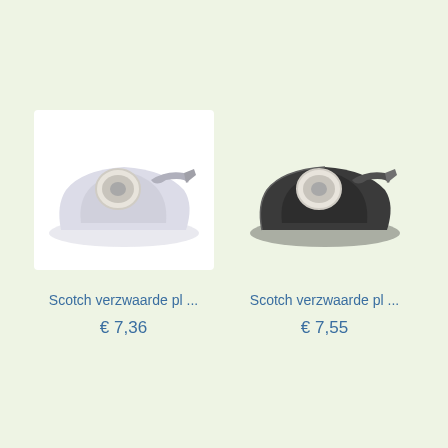[Figure (photo): White/light purple tape dispenser with clear tape roll on top, shown on white background]
Scotch verzwaarde pl ...
€ 7,36
[Figure (photo): Black tape dispenser with clear tape roll on top, shown on light green background]
Scotch verzwaarde pl ...
€ 7,55